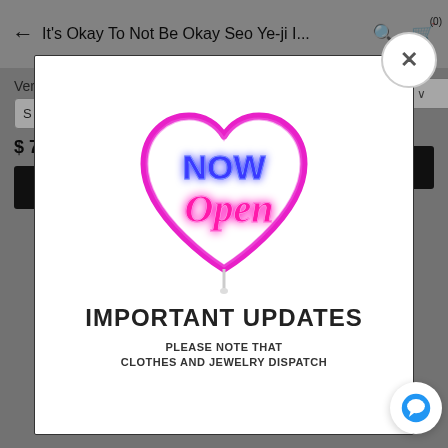← It's Okay To Not Be Okay Seo Ye-ji I... 🔍 🛍(0)
Version)
S / Peach
S / Short Skirt Leng
$ 128.00 USD
$ 72.00 USD
Add to cart
Add to cart
[Figure (logo): Neon sign style illustration: a pink neon heart outline containing the text 'NOW' in blue neon letters and 'Open' in pink neon script, with a small candle/pin at the bottom of the heart.]
IMPORTANT UPDATES
PLEASE NOTE THAT
CLOTHES AND JEWELRY DISPATCH